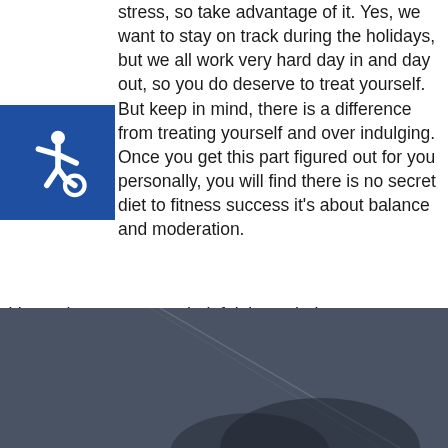stress, so take advantage of it. Yes, we want to stay on track during the holidays, but we all work very hard day in and day out, so you do deserve to treat yourself. But keep in mind, there is a difference from treating yourself and over indulging. Once you get this part figured out for you personally, you will find there is no secret diet to fitness success it's about balance and moderation.
[Figure (logo): Accessibility icon - white wheelchair symbol on blue background]
I hope these are some helpful tips to help you stay on track during the holidays! Have a great Thanksgiving and a Very Merry Christmas.
[Figure (photo): Dark blue-grey outdoor photo, partially visible, appears to show a landscape or athletic scene]